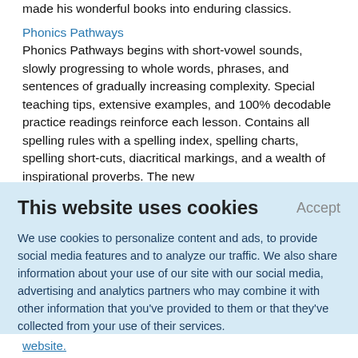made his wonderful books into enduring classics.
Phonics Pathways
Phonics Pathways begins with short-vowel sounds, slowly progressing to whole words, phrases, and sentences of gradually increasing complexity. Special teaching tips, extensive examples, and 100% decodable practice readings reinforce each lesson. Contains all spelling rules with a spelling index, spelling charts, spelling short-cuts, diacritical markings, and a wealth of inspirational proverbs. The new edition features more of
This website uses cookies
Accept
We use cookies to personalize content and ads, to provide social media features and to analyze our traffic. We also share information about your use of our site with our social media, advertising and analytics partners who may combine it with other information that you've provided to them or that they've collected from your use of their services.
Learn More.
website.